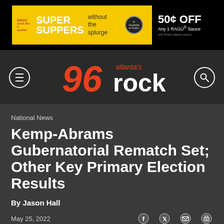[Figure (other): RAGÚ Super Suppers advertisement banner: yellow and black ad with text 'RAGÚ SUPER SUPPERS without the splurge' and '50¢ OFF Any 1 RAGÚ® Sauce' with Publix digital coupon logo]
[Figure (logo): Atlanta's 96 Rock radio station logo - orange '96' numeral with 'atlanta's rock' text in white on dark background, with hamburger menu icon on left and search icon on right]
National News
Kemp-Abrams Gubernatorial Rematch Set; Other Key Primary Election Results
By Jason Hall
May 25, 2022